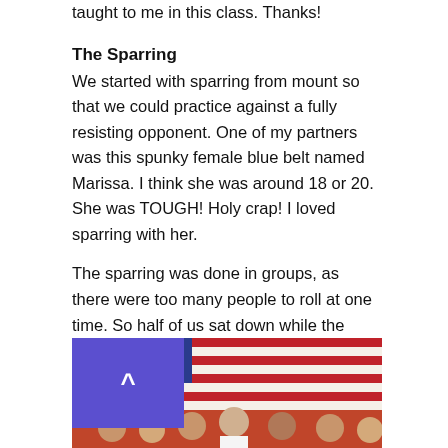taught to me in this class. Thanks!
The Sparring
We started with sparring from mount so that we could practice against a fully resisting opponent. One of my partners was this spunky female blue belt named Marissa. I think she was around 18 or 20. She was TOUGH! Holy crap! I loved sparring with her.
The sparring was done in groups, as there were too many people to roll at one time. So half of us sat down while the others rolled. The weather was so nice that you could walk out if you needed a little air, or you could sit on the benches.
[Figure (photo): Group photo of several people posing in front of a large American flag hung on a wall. The group includes men and women of various ages smiling at the camera.]